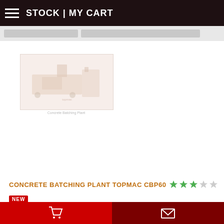STOCK | MY CART
[Figure (photo): Faded product image of a concrete batching plant]
CONCRETE BATCHING PLANT TOPMAC CBP60 ★★★☆☆
NEW
[Figure (other): Bottom toolbar with shopping cart icon (red left) and email/envelope icon (dark red right)]